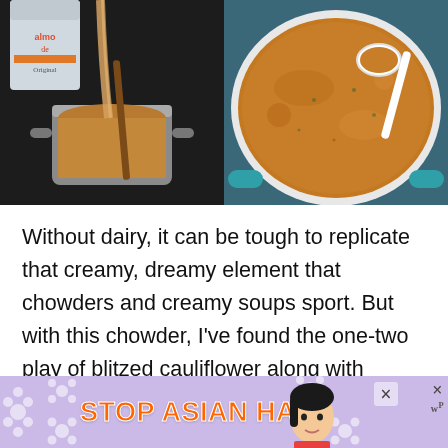[Figure (photo): Two food photos side by side: left shows almond milk being poured from a carton into a silver pot with a wooden spoon; right shows an overhead view of creamy orange-brown soup in a white Dutch oven with a white ladle, on a blue surface.]
Without dairy, it can be tough to replicate that creamy, dreamy element that chowders and creamy soups sport. But with this chowder, I've found the one-two play of blitzed cauliflower along with creamy almond milk gets us to the goal line. (Catch the football references?! Can't help myself)
[Figure (other): Advertisement banner with purple/lavender background with white flower pattern, bold orange text reading 'STOP ASIAN HATE', cartoon woman face, and close/X buttons.]